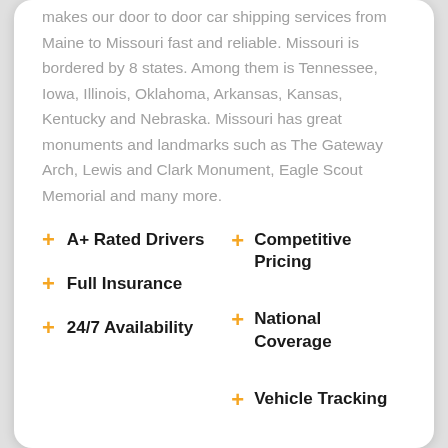makes our door to door car shipping services from Maine to Missouri fast and reliable. Missouri is bordered by 8 states. Among them is Tennessee, Iowa, Illinois, Oklahoma, Arkansas, Kansas, Kentucky and Nebraska. Missouri has great monuments and landmarks such as The Gateway Arch, Lewis and Clark Monument, Eagle Scout Memorial and many more.
A+ Rated Drivers
Full Insurance
24/7 Availability
Competitive Pricing
National Coverage
Vehicle Tracking